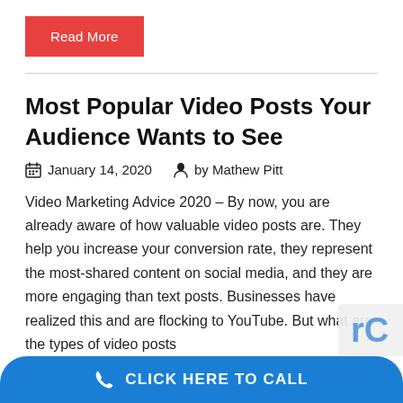Read More
Most Popular Video Posts Your Audience Wants to See
January 14, 2020   by Mathew Pitt
Video Marketing Advice 2020 – By now, you are already aware of how valuable video posts are. They help you increase your conversion rate, they represent the most-shared content on social media, and they are more engaging than text posts. Businesses have realized this and are flocking to YouTube. But what are the types of video posts
CLICK HERE TO CALL